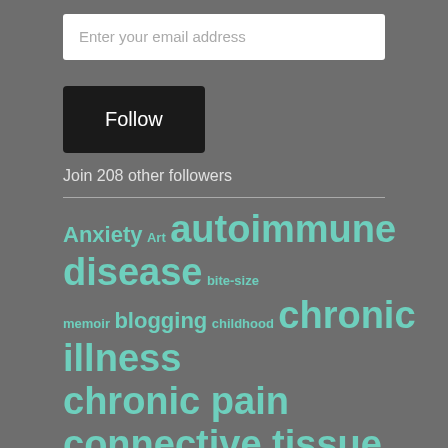Enter your email address
Follow
Join 208 other followers
[Figure (infographic): Tag cloud with medical/health blog tags in teal color on grey background. Tags include: Anxiety, Art, autoimmune disease, bite-size memoir, blogging, childhood, chronic illness, chronic pain, connective tissue disease, diagnosis, good medicine, healing, Health, humor, medicine, memoir, personal stories, poetry, Sjogren's / AI]